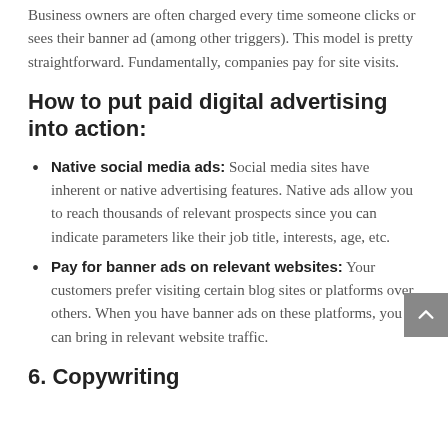Business owners are often charged every time someone clicks or sees their banner ad (among other triggers). This model is pretty straightforward. Fundamentally, companies pay for site visits.
How to put paid digital advertising into action:
Native social media ads: Social media sites have inherent or native advertising features. Native ads allow you to reach thousands of relevant prospects since you can indicate parameters like their job title, interests, age, etc.
Pay for banner ads on relevant websites: Your customers prefer visiting certain blog sites or platforms over others. When you have banner ads on these platforms, you can bring in relevant website traffic.
6. Copywriting